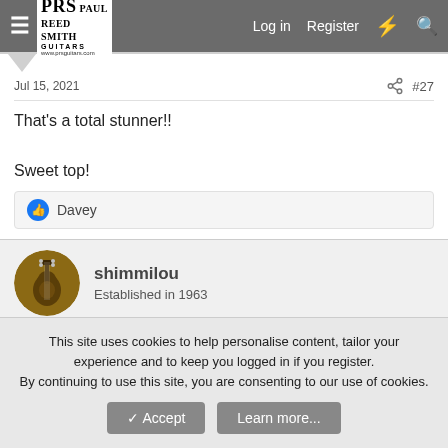PRS Paul Reed Smith Guitars - Log in | Register
Jul 15, 2021  #27
That's a total stunner!!

Sweet top!
Davey
shimmilou
Established in 1963
Jul 15, 2021  #28
This site uses cookies to help personalise content, tailor your experience and to keep you logged in if you register.
By continuing to use this site, you are consenting to our use of cookies.